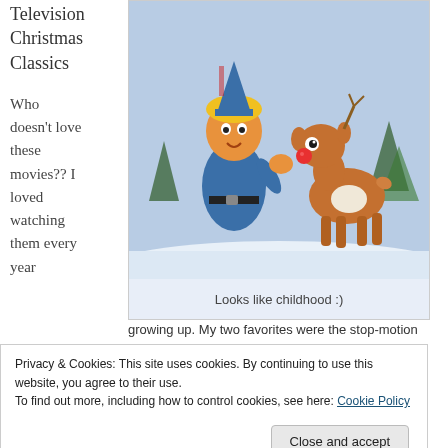Television Christmas Classics
Who doesn't love these movies?? I loved watching them every year
[Figure (photo): Stop-motion animation figures of an elf character and Rudolph the Red-Nosed Reindeer in a snowy scene]
Looks like childhood :)
growing up. My two favorites were the stop-motion Rudolph the
Privacy & Cookies: This site uses cookies. By continuing to use this website, you agree to their use.
To find out more, including how to control cookies, see here: Cookie Policy
Close and accept